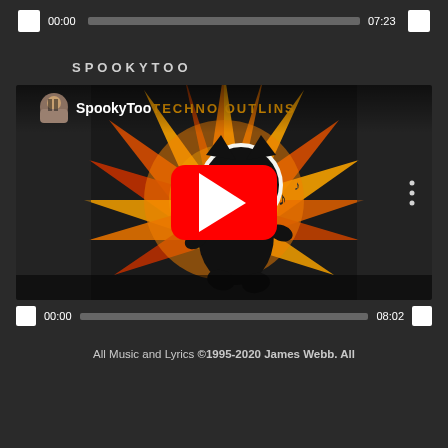[Figure (screenshot): Audio player controls with play button, time display 00:00, progress bar, and end time 07:23]
SPOOKYTOO
[Figure (screenshot): YouTube video thumbnail for SpookyToo by Techno Outlins, showing Felix the Cat character dancing with a retro burst background, red YouTube play button overlay. Channel avatar shows bearded man. Video controls show 00:00 / 08:02.]
All Music and Lyrics © 1995-2020 James Webb. All